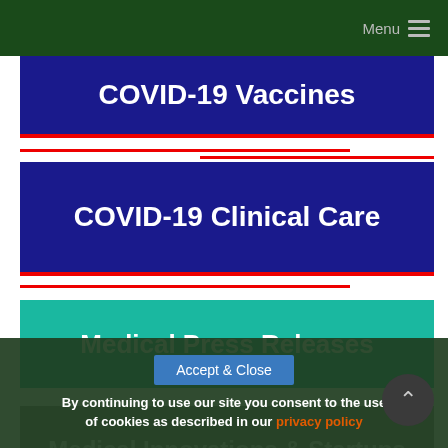Menu
COVID-19 Vaccines
COVID-19 Clinical Care
Medical Press Releases
Medical Innovations & Startups
AI in Medicine
Accept & Close
By continuing to use our site you consent to the use of cookies as described in our privacy policy